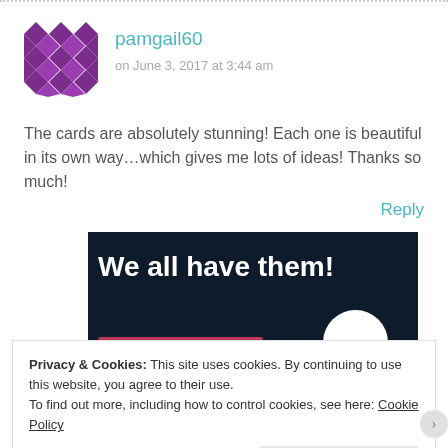[Figure (illustration): Purple geometric diamond/quilt pattern avatar icon]
pamgail60
on June 3, 2017 at 3:44 am
The cards are absolutely stunning! Each one is beautiful in its own way…which gives me lots of ideas! Thanks so much!
Reply
[Figure (screenshot): Dark navy advertisement banner with white bold text reading 'We all have them!' with a pink/red button and white circle at the bottom]
Privacy & Cookies: This site uses cookies. By continuing to use this website, you agree to their use.
To find out more, including how to control cookies, see here: Cookie Policy
Close and accept